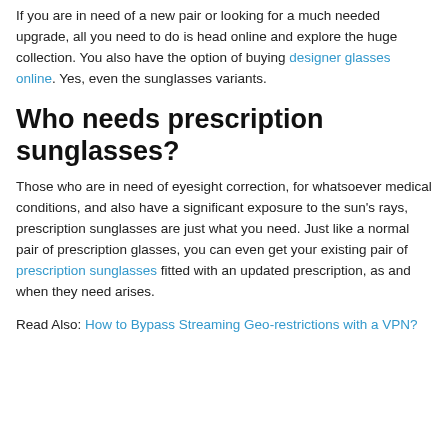If you are in need of a new pair or looking for a much needed upgrade, all you need to do is head online and explore the huge collection. You also have the option of buying designer glasses online. Yes, even the sunglasses variants.
Who needs prescription sunglasses?
Those who are in need of eyesight correction, for whatsoever medical conditions, and also have a significant exposure to the sun's rays, prescription sunglasses are just what you need. Just like a normal pair of prescription glasses, you can even get your existing pair of prescription sunglasses fitted with an updated prescription, as and when they need arises.
Read Also: How to Bypass Streaming Geo-restrictions with a VPN?